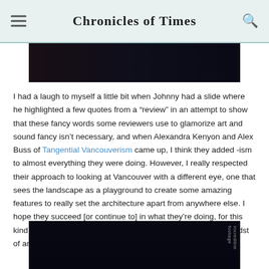Chronicles of Times
[Figure (photo): Dark photograph at the top of the article, partially visible]
I had a laugh to myself a little bit when Johnny had a slide where he highlighted a few quotes from a “review” in an attempt to show that these fancy words some reviewers use to glamorize art and sound fancy isn’t necessary, and when Alexandra Kenyon and Alex Buss of Tangential Vancouverism came up, I think they added -ism to almost everything they were doing. However, I really respected their approach to looking at Vancouver with a different eye, one that sees the landscape as a playground to create some amazing features to really set the architecture apart from anywhere else. I hope they succeed [or continue to] in what they’re doing, for this kind of creating is always a welcome addition to a city in the midst of an already growing beautification process.
[Figure (photo): Dark photograph at the bottom of the article, partially visible with vertical label text]